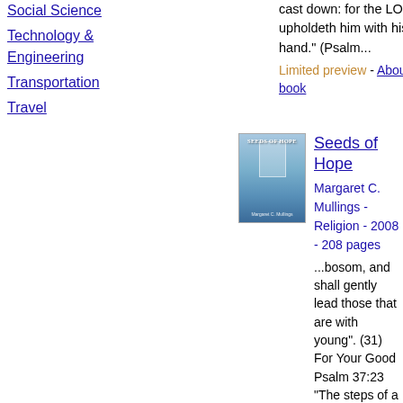Social Science
Technology & Engineering
Transportation
Travel
cast down: for the LORD upholdeth him with his hand." (Psalm... Limited preview - About this book
Seeds of Hope
Margaret C. Mullings - Religion - 2008 - 208 pages
...bosom, and shall gently lead those that are with young". (31) For Your Good Psalm 37:23 "The steps of a good man are ordered